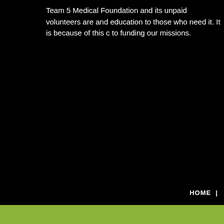Team 5 Medical Foundation and its unpaid volunteers are and education to those who need it. It is because of this c to funding our missions.
HOME |